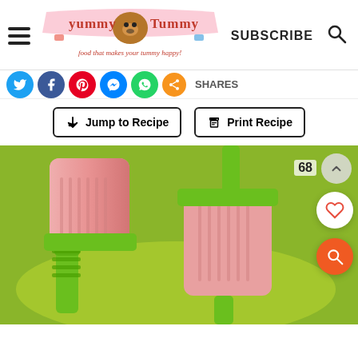Yummy Tummy - food that makes your tummy happy! | SUBSCRIBE
SHARES
Jump to Recipe | Print Recipe
[Figure (photo): Two pink popsicles/ice lollies in green plastic molds on a green plate, photographed from above]